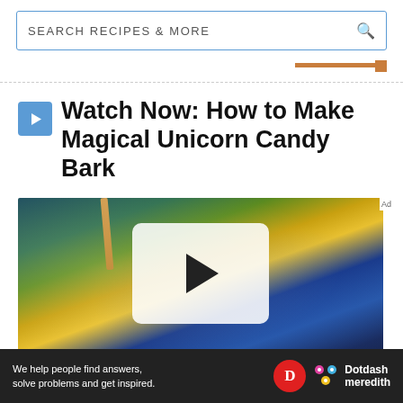SEARCH RECIPES & MORE
Watch Now: How to Make Magical Unicorn Candy Bark
[Figure (screenshot): Video thumbnail showing colorful swirled candy bark with a play button overlay and 'CLICK TO PLAY' text]
We help people find answers, solve problems and get inspired. Dotdash meredith